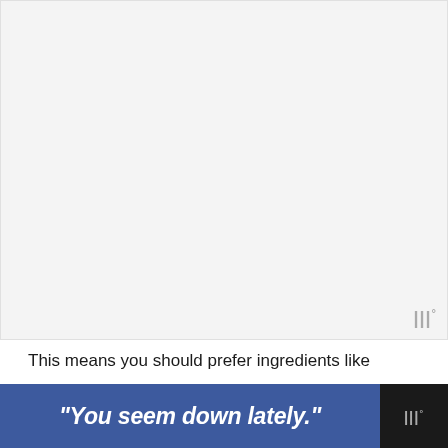[Figure (photo): Large image area (mostly white/blank, representing a photograph or embedded video frame), with a watermark logo in the bottom-right corner consisting of bar-like symbols and a degree sign.]
This means you should prefer ingredients like argan oil, grapeseed oil, jojoba oil, etc. over shea b
[Figure (infographic): Dark banner bar at the bottom of the page with a blue rectangle containing the italic bold text: "You seem down lately." and a dark section on the right with a watermark logo.]